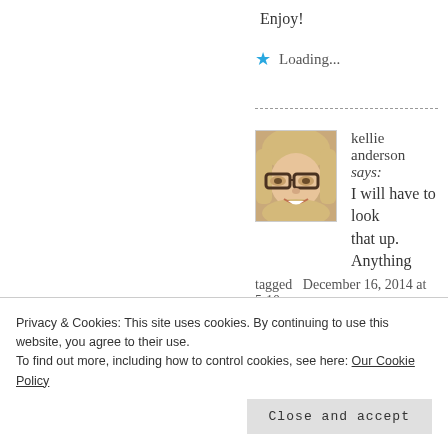Enjoy!
★ Loading...
kellie anderson says:
I will have to look that up. Anything tagged   December 16, 2014 at 5:10 pm
Persian
gets my attention. Thanks for
Privacy & Cookies: This site uses cookies. By continuing to use this website, you agree to their use.
To find out more, including how to control cookies, see here: Our Cookie Policy
Close and accept